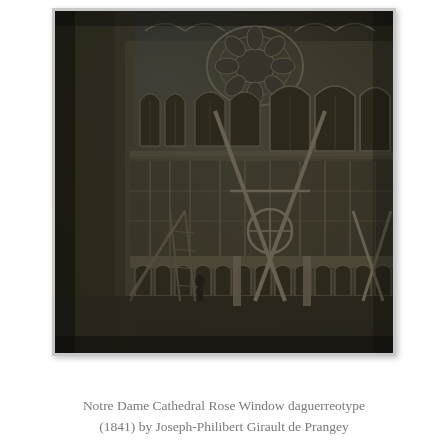[Figure (photo): A daguerreotype photograph of Notre Dame Cathedral's Rose Window exterior, taken in 1841 by Joseph-Philibert Girault de Prangey. The image shows the Gothic stonework, arched windows, flying buttresses, decorative tracery, and construction scaffolding or ladders leaning against the building. The photograph has a dark, aged bluish-brown tone characteristic of early daguerreotype photography.]
Notre Dame Cathedral Rose Window daguerreotype (1841) by Joseph-Philibert Girault de Prangey